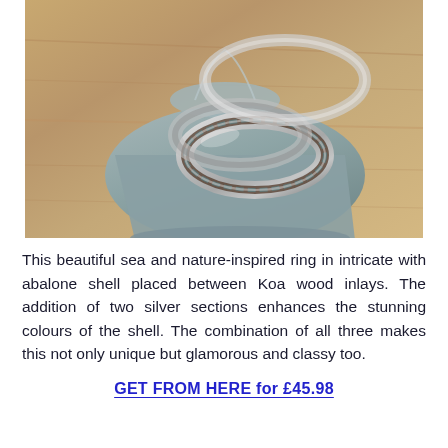[Figure (photo): Photo of a silver ring with Koa wood and abalone shell inlays, placed on a grey velvet pouch on a wooden surface.]
This beautiful sea and nature-inspired ring in intricate with abalone shell placed between Koa wood inlays. The addition of two silver sections enhances the stunning colours of the shell. The combination of all three makes this not only unique but glamorous and classy too.
GET FROM HERE for £45.98